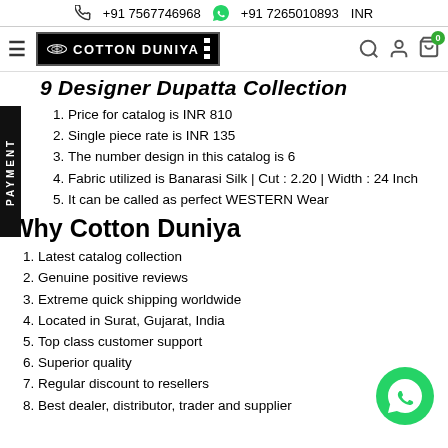+91 7567746968   +91 7265010893   INR
[Figure (logo): Cotton Duniya logo with lotus icon, black background, white text]
9 Designer Dupatta Collection
Price for catalog is INR 810
Single piece rate is INR 135
The number design in this catalog is 6
Fabric utilized is Banarasi Silk | Cut : 2.20 | Width : 24 Inch
It can be called as perfect WESTERN Wear
Why Cotton Duniya
Latest catalog collection
Genuine positive reviews
Extreme quick shipping worldwide
Located in Surat, Gujarat, India
Top class customer support
Superior quality
Regular discount to resellers
Best dealer, distributor, trader and supplier